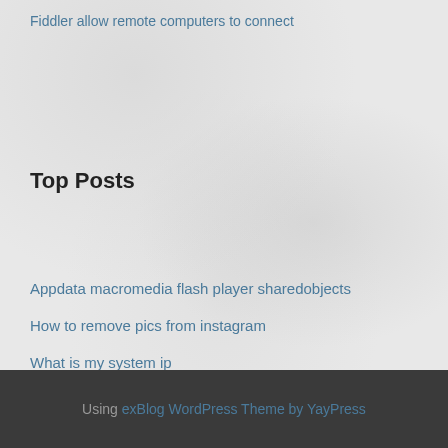Fiddler allow remote computers to connect
Top Posts
Appdata macromedia flash player sharedobjects
How to remove pics from instagram
What is my system ip
My ip country
Hide my money
Using exBlog WordPress Theme by YayPress